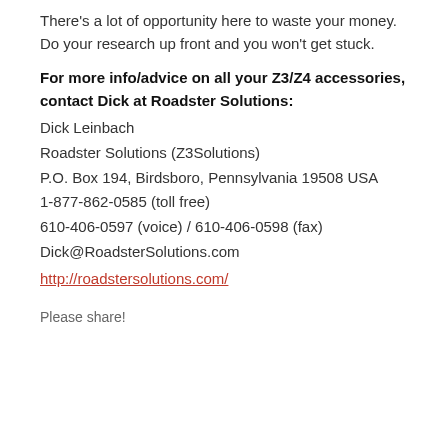There's a lot of opportunity here to waste your money. Do your research up front and you won't get stuck.
For more info/advice on all your Z3/Z4 accessories, contact Dick at Roadster Solutions:
Dick Leinbach
Roadster Solutions (Z3Solutions)
P.O. Box 194, Birdsboro, Pennsylvania 19508 USA
1-877-862-0585 (toll free)
610-406-0597 (voice) / 610-406-0598 (fax)
Dick@RoadsterSolutions.com
http://roadstersolutions.com/
Please share!